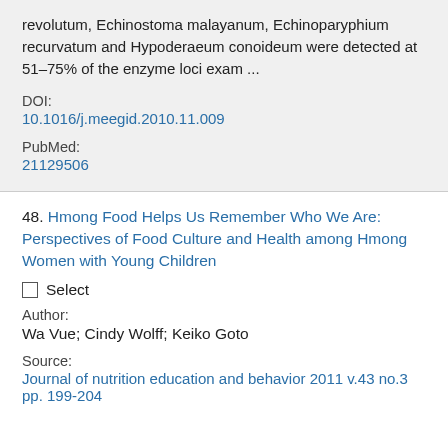revolutum, Echinostoma malayanum, Echinoparyphium recurvatum and Hypoderaeum conoideum were detected at 51–75% of the enzyme loci exam ...
DOI:
10.1016/j.meegid.2010.11.009
PubMed:
21129506
48. Hmong Food Helps Us Remember Who We Are: Perspectives of Food Culture and Health among Hmong Women with Young Children
Select
Author:
Wa Vue; Cindy Wolff; Keiko Goto
Source:
Journal of nutrition education and behavior 2011 v.43 no.3 pp. 199-204